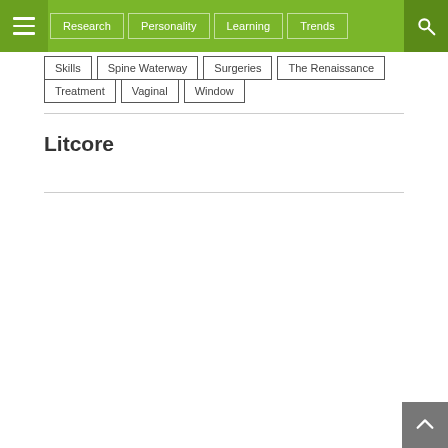Navigation bar with hamburger menu, nav items (Research, Personality, Learning, Trends), and search icon
Skills
Spine Waterway
Surgeries
The Renaissance
Treatment
Vaginal
Window
Litcore